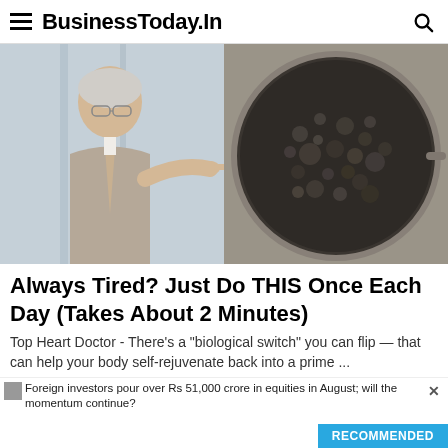BusinessToday.In
[Figure (photo): Split image: left side shows an elderly male doctor in a suit pointing right toward a pan of food; right side shows a close-up of boiling/bubbling dark food in a round pan.]
Always Tired? Just Do THIS Once Each Day (Takes About 2 Minutes)
Top Heart Doctor - There's a "biological switch" you can flip — that can help your body self-rejuvenate back into a prime ...
Foreign investors pour over Rs 51,000 crore in equities in August; will the momentum continue?